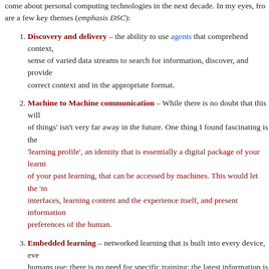come about personal computing technologies in the next decade. In my eyes, from are a few key themes (emphasis DSC):
Discovery and delivery – the ability to use agents that comprehend context, sense of varied data streams to search for information, discover, and provide correct context and in the appropriate format.
Machine to Machine communication – While there is no doubt that this will of things' isn't very far away in the future. One thing I found fascinating is the 'learning profile', an identity that is essentially a digital package of your learning of your past learning, that can be accessed by machines. This would let the 'm interfaces, learning content and the experience itself, and present information preferences of the human.
Embedded learning – networked learning that is built into every device, ever humans use; there is no need for specific training; the latest information is authentic sources, judged valuable by network analysis, provided with the right to complete tasks
If you enjoyed this article, please consider sharing it!
Tagged with: Connectivism • educational technology • emerging technologies • Learning Agents • learning ecosystem • machine-to-machine communications •